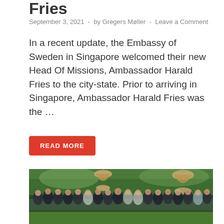Fries
September 3, 2021  -  by Gregers Møller  -  Leave a Comment
In a recent update, the Embassy of Sweden in Singapore welcomed their new Head Of Missions, Ambassador Harald Fries to the city-state. Prior to arriving in Singapore, Ambassador Harald Fries was the …
READ MORE
[Figure (photo): Group photo of approximately 40 people in formal/business attire standing outdoors on a lawn with large woven basket-like lanterns hanging from trees in the background]